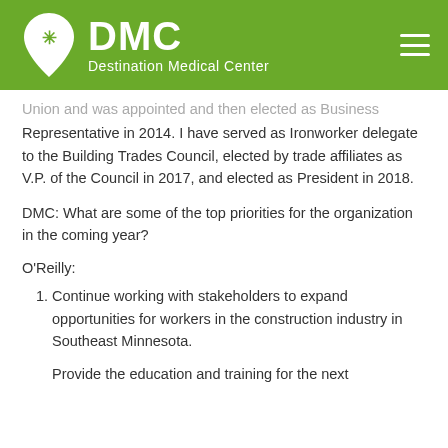DMC Destination Medical Center
Union and was appointed and then elected as Business Representative in 2014. I have served as Ironworker delegate to the Building Trades Council, elected by trade affiliates as V.P. of the Council in 2017, and elected as President in 2018.
DMC: What are some of the top priorities for the organization in the coming year?
O'Reilly:
Continue working with stakeholders to expand opportunities for workers in the construction industry in Southeast Minnesota.
Provide the education and training for the next generation of skilled craft workers, to meet the